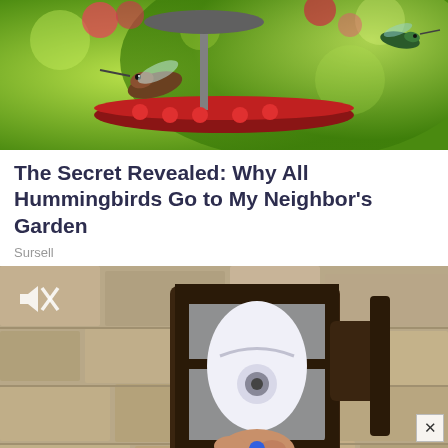[Figure (photo): Photo of hummingbirds at a red feeder with green bokeh background and flowers]
The Secret Revealed: Why All Hummingbirds Go to My Neighbor's Garden
Sursell
[Figure (screenshot): Video screenshot showing a lantern-style outdoor light fixture mounted on a stone wall, with a white smart bulb/camera device inside, and someone pressing a small device with a blue button. A mute icon is visible in the top left corner and a close (X) button at bottom right.]
[Figure (photo): Advertisement banner: JOIN US FOR A SPECIAL EVENT SEPTEMBER 13 - 15 CLOUD EXCHANGE with dark background and cloud logo]
Home